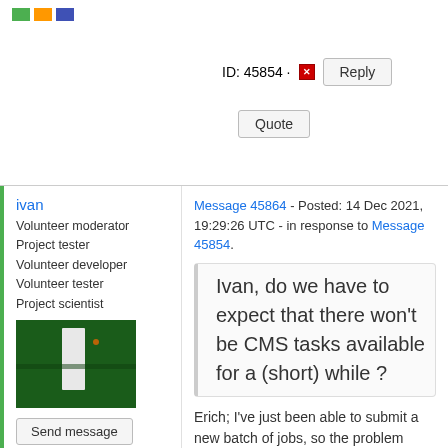[Figure (logo): Colored logo bars (green, orange, blue)]
ID: 45854 · [x]
Reply
Quote
ivan
Volunteer moderator
Project tester
Volunteer developer
Volunteer tester
Project scientist
[Figure (photo): Dark green circuit board photo with white vertical bar]
Send message
Joined: 29 Aug 05
Posts: 883
Credit: 5,852,906
RAC: 54
Message 45864 - Posted: 14 Dec 2021, 19:29:26 UTC - in response to Message 45854.
Ivan, do we have to expect that there won't be CMS tasks available for a (short) while ?
Erich; I've just been able to submit a new batch of jobs, so the problem